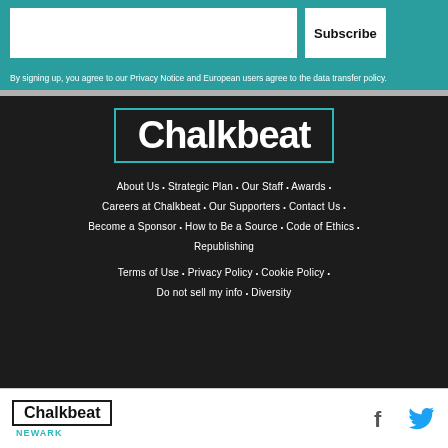Subscribe
By signing up, you agree to our Privacy Notice and European users agree to the data transfer policy.
[Figure (logo): Chalkbeat logo in white text with teal border rectangle on dark background]
About Us  •  Strategic Plan  •  Our Staff  •  Awards  •  Careers at Chalkbeat  •  Our Supporters  •  Contact Us  •  Become a Sponsor  •  How to Be a Source  •  Code of Ethics  •  Republishing
Terms of Use  •  Privacy Policy  •  Cookie Policy  •  Do not sell my info  •  Diversity
[Figure (logo): Chalkbeat Newark logo in black text with teal NEWARK label below, social media icons for Facebook and Twitter]